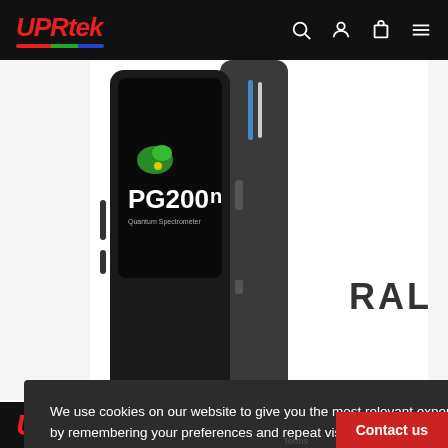UPRtek
[Figure (photo): UPRtek PG200n Quantum Spectrometer handheld device shown in black, front and side view]
RAL
We use cookies on our website to give you the most relevant experience by remembering your preferences and repeat visits. By clicking “Accept”, you consent to the use of ALL the cookies.
Cookie settings
ACCEPT
[Figure (other): reCAPTCHA widget showing spinning arrows icon]
Terms
Contact us
UPRtek